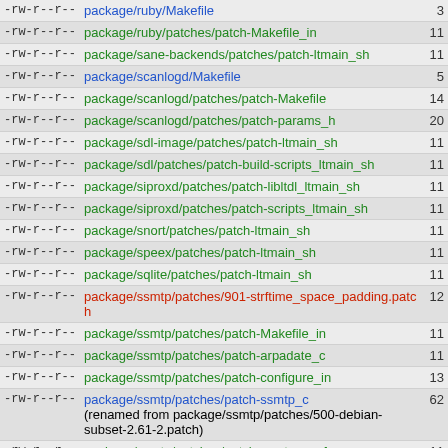| permissions | filename | number |
| --- | --- | --- |
| -rw-r--r-- | package/ruby/Makefile | 3 |
| -rw-r--r-- | package/ruby/patches/patch-Makefile_in | 11 |
| -rw-r--r-- | package/sane-backends/patches/patch-ltmain_sh | 11 |
| -rw-r--r-- | package/scanlogd/Makefile | 5 |
| -rw-r--r-- | package/scanlogd/patches/patch-Makefile | 14 |
| -rw-r--r-- | package/scanlogd/patches/patch-params_h | 20 |
| -rw-r--r-- | package/sdl-image/patches/patch-ltmain_sh | 11 |
| -rw-r--r-- | package/sdl/patches/patch-build-scripts_ltmain_sh | 11 |
| -rw-r--r-- | package/siproxd/patches/patch-libltdl_ltmain_sh | 11 |
| -rw-r--r-- | package/siproxd/patches/patch-scripts_ltmain_sh | 11 |
| -rw-r--r-- | package/snort/patches/patch-ltmain_sh | 11 |
| -rw-r--r-- | package/speex/patches/patch-ltmain_sh | 11 |
| -rw-r--r-- | package/sqlite/patches/patch-ltmain_sh | 11 |
| -rw-r--r-- | package/ssmtp/patches/901-strftime_space_padding.patch | 12 |
| -rw-r--r-- | package/ssmtp/patches/patch-Makefile_in | 11 |
| -rw-r--r-- | package/ssmtp/patches/patch-arpadate_c | 11 |
| -rw-r--r-- | package/ssmtp/patches/patch-configure_in | 13 |
| -rw-r--r-- | package/ssmtp/patches/patch-ssmtp_c (renamed from package/ssmtp/patches/500-debian-subset-2.61-2.patch) | 62 |
| -rw-r--r-- | package/ssmtp/patches/patch-ssmtp_conf | 11 |